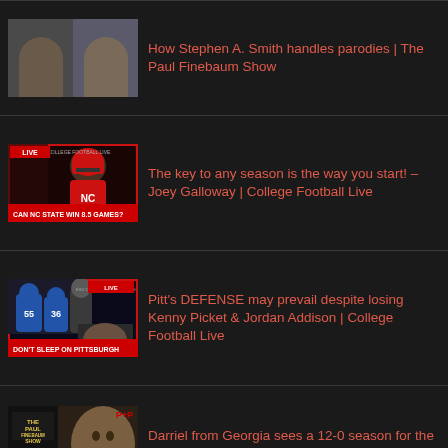How Stephen A. Smith handles parodies | The Paul Finebaum Show
The key to any season is the way you start! – Joey Galloway | College Football Live
Pitt's DEFENSE may prevail despite losing Kenny Picket & Jordan Addison | College Football Live
Darriel from Georgia sees a 12-0 season for the Bulldogs | The Paul